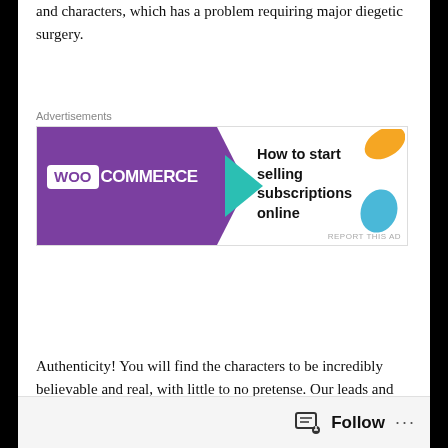and characters, which has a problem requiring major diegetic surgery.
[Figure (screenshot): WooCommerce advertisement banner with purple background, teal arrow, and text 'How to start selling subscriptions online'. Orange, teal and blue leaf/teardrop shapes decorate the right side.]
Authenticity! You will find the characters to be incredibly believable and real, with little to no pretense. Our leads and supporting cast feel like your coworkers, neighbors, and friends. We all have someone in our lives of whom the characters will remind us. In fact, you will likely see yourself IN one or more of the characters. When you can place yourself in the story, the degree to which it impacts you will significantly increase. And it's even better when you can laugh along with the characters. But what makes these characters connect and resonate with audiences is the unexpected level of vulnerability the characters demonstrate. And it's our vulnerabilities, our flaws and the
Follow ...